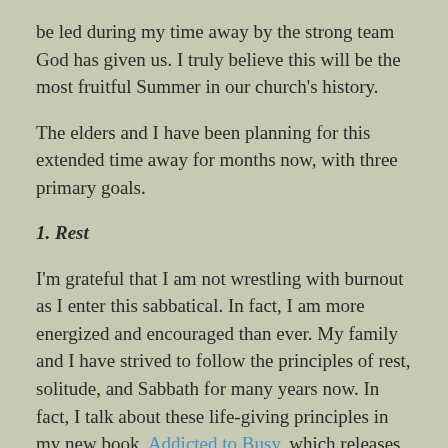be led during my time away by the strong team God has given us. I truly believe this will be the most fruitful Summer in our church's history.
The elders and I have been planning for this extended time away for months now, with three primary goals.
1. Rest
I'm grateful that I am not wrestling with burnout as I enter this sabbatical. In fact, I am more energized and encouraged than ever. My family and I have strived to follow the principles of rest, solitude, and Sabbath for many years now. In fact, I talk about these life-giving principles in my new book, Addicted to Busy, which releases when I return later this Summer. However, I'm sure I have underestimated the physical, emotional and mental toll these past seven years have taken on my